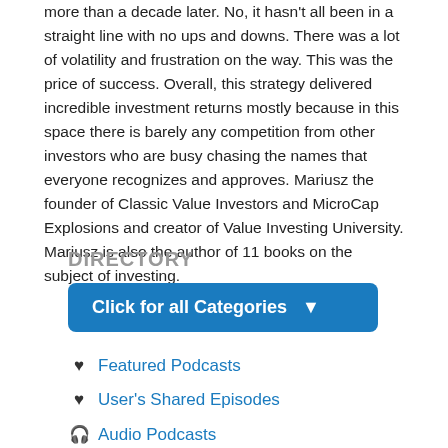more than a decade later. No, it hasn't all been in a straight line with no ups and downs. There was a lot of volatility and frustration on the way. This was the price of success. Overall, this strategy delivered incredible investment returns mostly because in this space there is barely any competition from other investors who are busy chasing the names that everyone recognizes and approves. Mariusz the founder of Classic Value Investors and MicroCap Explosions and creator of Value Investing University. Mariusz is also the author of 11 books on the subject of investing.
DIRECTORY
[Figure (other): Blue button labeled 'Click for all Categories' with a dropdown arrow]
Featured Podcasts
User's Shared Episodes
Audio Podcasts
Video Podcasts
Add Podcast
Podcast Resources